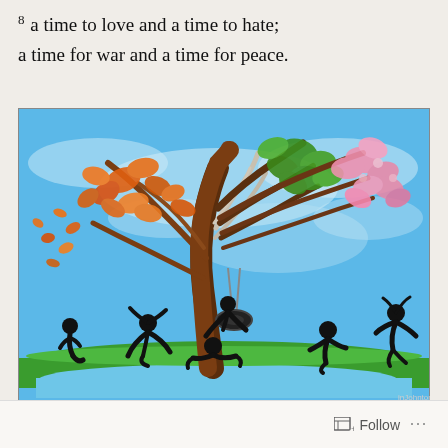8 a time to love and a time to hate;
a time for war and a time for peace.
[Figure (illustration): A colorful illustration of a large tree with multiple seasonal branches — autumn leaves blowing left, bare white branches in the center, green leafy branches, and pink blossoming branches on the right. Children silhouettes are shown playing around the tree: a child kneeling, a child doing a cartwheel, a child on a tire swing, a baby crawling, a child reading, and a child jumping joyfully. The background shows a blue sky with white swirling clouds and a green grassy ground with a pond.]
Follow ...